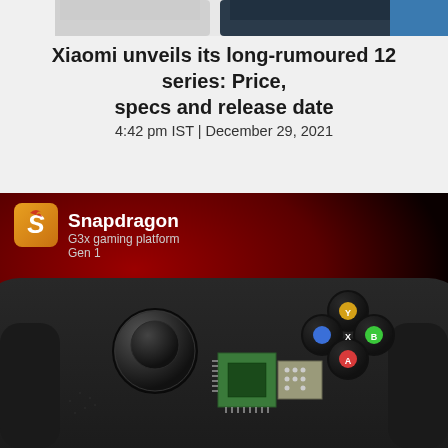[Figure (photo): Top portion of smartphone lineup showing multiple Xiaomi 12 series phones cropped at top of page]
Xiaomi unveils its long-rumoured 12 series: Price, specs and release date
4:42 pm IST | December 29, 2021
[Figure (photo): Snapdragon G3x gaming platform Gen 1 promotional image showing a gaming controller with joystick and buttons, with a Snapdragon chip placed on top. Logo and branding text visible in top-left corner.]